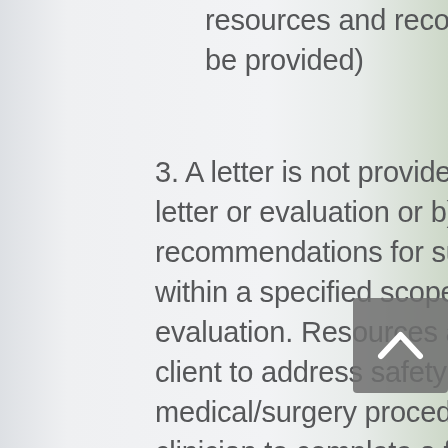resources and recommendations for best outcomes will be provided)
3. A letter is not provided due to a) your choice to decline a letter or evaluation or b) concerns of contraindication if recommendations for supporting client safety are not met within a specified scope of time following the initial evaluation. Resources and referrals will be provided to the client to address safety and housing needs prior to the medical/surgery procedure; clients may coordinate with the clinician to complete a follow-up at that time and/or request re-evaluation depending on time between initial evaluation and completion of recommendations. Referrals for